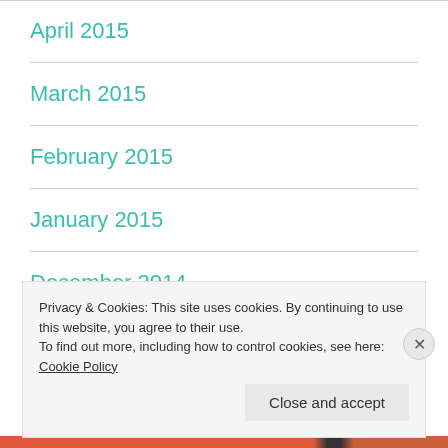April 2015
March 2015
February 2015
January 2015
December 2014
November 2014
Privacy & Cookies: This site uses cookies. By continuing to use this website, you agree to their use.
To find out more, including how to control cookies, see here: Cookie Policy
Close and accept